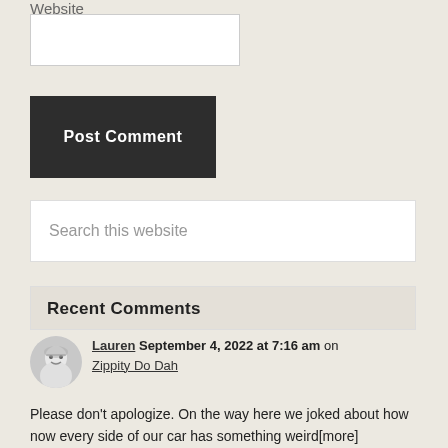Website
[Figure (other): Website text input field (empty)]
[Figure (other): Post Comment button, dark gray background with white bold text]
[Figure (other): Search this website input field]
Recent Comments
[Figure (other): Avatar image of Lauren, a cartoon/illustration of a woman with glasses]
Lauren September 4, 2022 at 7:16 am on Zippity Do Dah
Please don’t apologize. On the way here we joked about how now every side of our car has something weird[more]